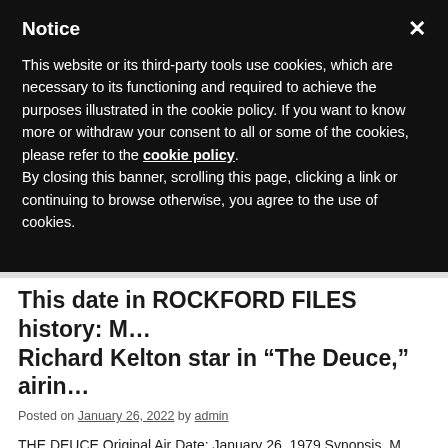Notice
This website or its third-party tools use cookies, which are necessary to its functioning and required to achieve the purposes illustrated in the cookie policy. If you want to know more or withdraw your consent to all or some of the cookies, please refer to the cookie policy.
By closing this banner, scrolling this page, clicking a link or continuing to browse otherwise, you agree to the use of cookies.
This date in ROCKFORD FILES history: M… Richard Kelton star in “The Deuce,” airin…
Posted on January 26, 2022 by admin
THE DEUCE Original Air Date: January 26, 1979 Synopsis. M… Bassett, a chronic drinker accused of vehicular manslaughter. Th… against Bassett is strong, Rockford is the only juror on Bassett's…
Posted in Celebrities, Classic Shows, Film Stars, Television Star | Tagged 45…